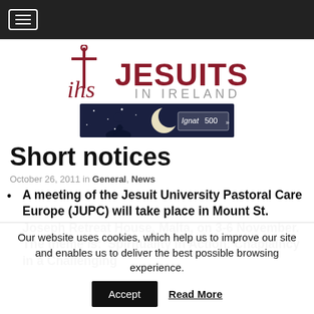Navigation bar with hamburger menu
[Figure (logo): IHS Jesuits in Ireland logo with cross symbol, red and grey text]
[Figure (illustration): Banner image with person looking at moon, Ignatius 500 text]
Short notices
October 26, 2011 in General, News
A meeting of the Jesuit University Pastoral Care Europe (JUPC) will take place in Mount St. Joseph Retreat House, Malta, on 3-6 November.  The theme is: ‘Spirituality in Action: Chaplaincy in a Challenging
Our website uses cookies, which help us to improve our site and enables us to deliver the best possible browsing experience.
Accept   Read More